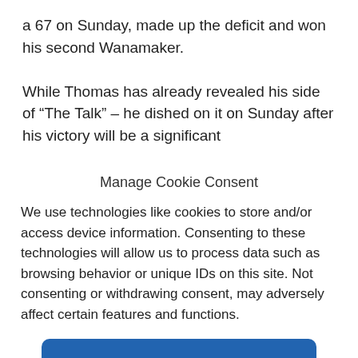a 67 on Sunday, made up the deficit and won his second Wanamaker.
While Thomas has already revealed his side of “The Talk” – he dished on it on Sunday after his victory…
Manage Cookie Consent
We use technologies like cookies to store and/or access device information. Consenting to these technologies will allow us to process data such as browsing behavior or unique IDs on this site. Not consenting or withdrawing consent, may adversely affect certain features and functions.
Accept
Cookie Policy